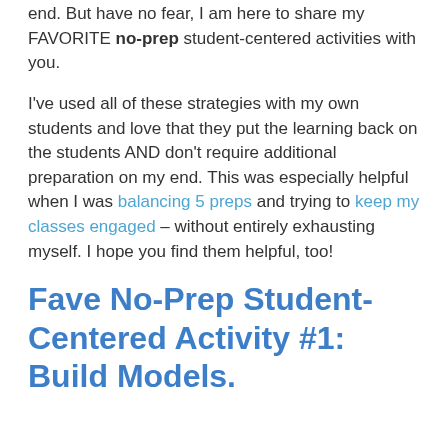end. But have no fear, I am here to share my FAVORITE no-prep student-centered activities with you.
I've used all of these strategies with my own students and love that they put the learning back on the students AND don't require additional preparation on my end. This was especially helpful when I was balancing 5 preps and trying to keep my classes engaged – without entirely exhausting myself. I hope you find them helpful, too!
Fave No-Prep Student-Centered Activity #1: Build Models.